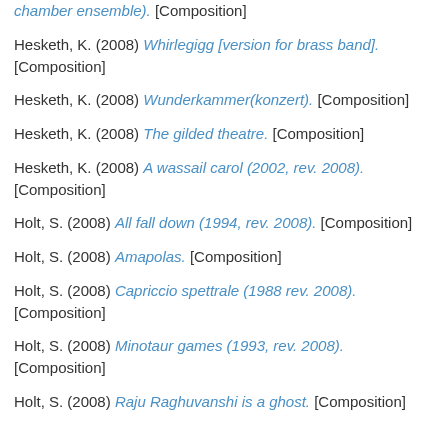chamber ensemble). [Composition]
Hesketh, K. (2008) Whirlegigg [version for brass band]. [Composition]
Hesketh, K. (2008) Wunderkammer(konzert). [Composition]
Hesketh, K. (2008) The gilded theatre. [Composition]
Hesketh, K. (2008) A wassail carol (2002, rev. 2008). [Composition]
Holt, S. (2008) All fall down (1994, rev. 2008). [Composition]
Holt, S. (2008) Amapolas. [Composition]
Holt, S. (2008) Capriccio spettrale (1988 rev. 2008). [Composition]
Holt, S. (2008) Minotaur games (1993, rev. 2008). [Composition]
Holt, S. (2008) Raju Raghuvanshi is a ghost. [Composition]